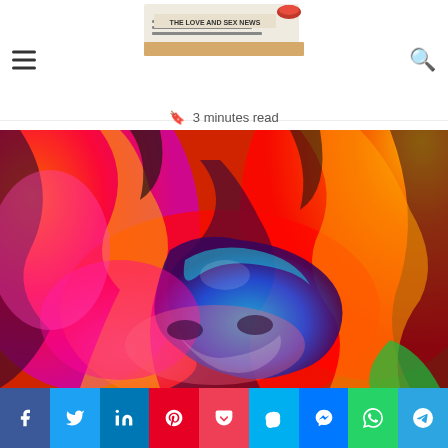The Love and Sex News — site header with navigation
Set Fire to Romantic Relationships?
3 minutes read
[Figure (illustration): Colorful abstract art illustration of a couple with vivid red, orange, blue and pink colors suggesting fire and passion]
Social share buttons: Facebook, Twitter, LinkedIn, Pinterest, Pocket, Skype, Messenger, WhatsApp, Telegram